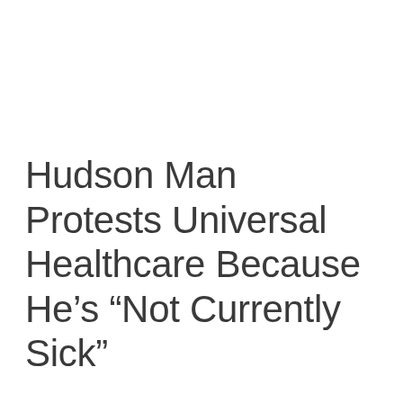Hudson Man Protests Universal Healthcare Because He’s “Not Currently Sick”